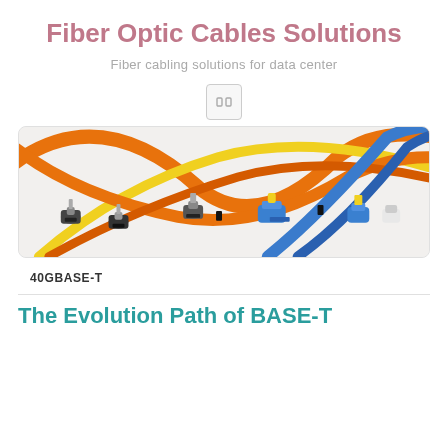Fiber Optic Cables Solutions
Fiber cabling solutions for data center
[Figure (photo): Fiber optic patch cables with various connectors (ST, FC, SC, LC) in orange, yellow, and blue colors arranged on a white surface]
40GBASE-T
The Evolution Path of BASE-T